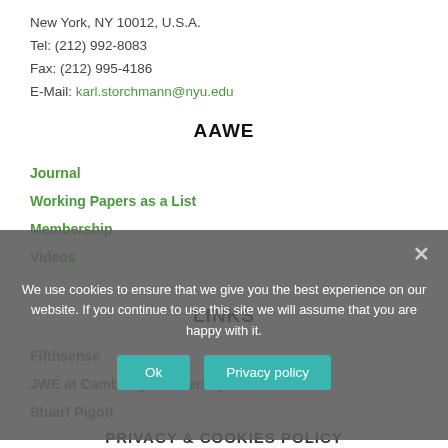New York, NY 10012, U.S.A.
Tel: (212) 992-8083
Fax: (212) 995-4186
E-Mail: karl.storchmann@nyu.edu
AAWE
Journal
Working Papers as a List
Membership
Videos
LINKS
Fifthsense
JWE at Cambridge University Press
Stuart Pigott
We use cookies to ensure that we give you the best experience on our website. If you continue to use this site we will assume that you are happy with it.
Ok
Privacy policy
PRIVACY & COOKIES POLICY